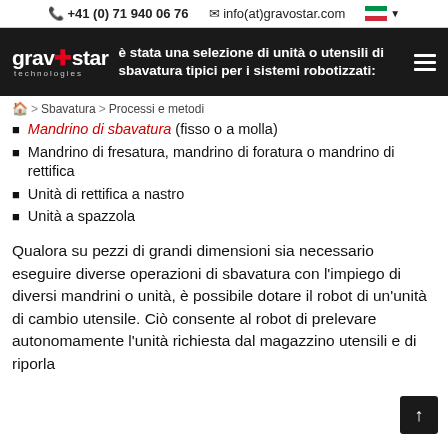+41 (0) 71 940 06 76   info(at)gravostar.com
è stata una selezione di unità o utensili di sbavatura tipici per i sistemi robotizzati:
Home > Sbavatura > Processi e metodi
Mandrino di sbavatura (fisso o a molla)
Mandrino di fresatura, mandrino di foratura o mandrino di rettifica
Unità di rettifica a nastro
Unità a spazzola
Qualora su pezzi di grandi dimensioni sia necessario eseguire diverse operazioni di sbavatura con l'impiego di diversi mandrini o unità, è possibile dotare il robot di un'unità di cambio utensile. Ciò consente al robot di prelevare autonomamente l'unità richiesta dal magazzino utensili e di riporla